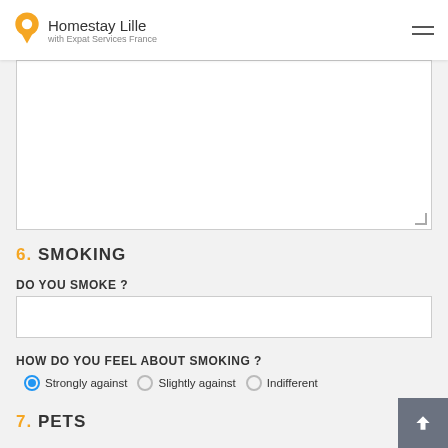Homestay Lille with Expat Services France
[Figure (screenshot): Empty textarea / text input field]
6. SMOKING
DO YOU SMOKE ?
[Figure (screenshot): Dropdown select box for smoking answer]
HOW DO YOU FEEL ABOUT SMOKING ?
Strongly against (selected), Slightly against, Indifferent
7. PETS